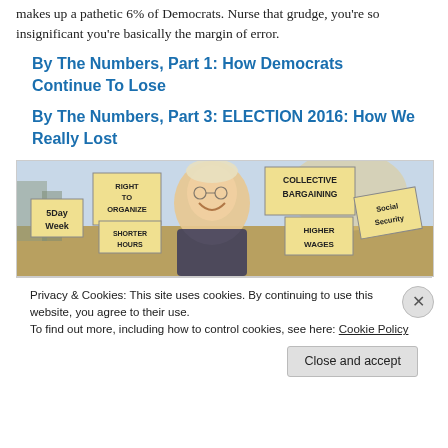makes up a pathetic 6% of Democrats. Nurse that grudge, you're so insignificant you're basically the margin of error.
By The Numbers, Part 1: How Democrats Continue To Lose
By The Numbers, Part 3: ELECTION 2016: How We Really Lost
[Figure (illustration): Illustrated editorial cartoon of a smiling older man (resembling Bernie Sanders) surrounded by protest signs reading: RIGHT TO ORGANIZE, COLLECTIVE BARGAINING, 5 Day Week, SHORTER HOURS, HIGHER WAGES, Social Security]
Privacy & Cookies: This site uses cookies. By continuing to use this website, you agree to their use.
To find out more, including how to control cookies, see here: Cookie Policy